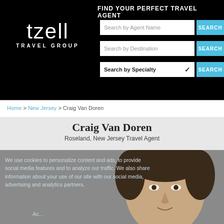[Figure (screenshot): Tzell Travel Group website header with black background, logo on left, and search fields on right]
FIND YOUR PERFECT TRAVEL AGENT
Home > New Jersey > Craig Van Doren
Craig Van Doren
Roseland, New Jersey Travel Agent
[Figure (photo): Photo of Craig Van Doren, a man with dark hair, partially obscured by a cookie consent overlay]
We use cookies to personalize content and ads, to provide social media features and to analyze our traffic. We also share information about your use of our site with our social media, advertising and analytics partners.